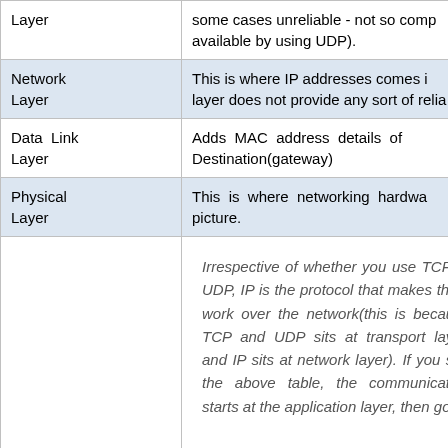| Layer | Description |  |
| --- | --- | --- |
| Layer | some cases unreliable - not so comp... available by using UDP). |  |
| Network Layer | This is where IP addresses comes i... layer does not provide any sort of relia... |  |
| Data Link Layer | Adds MAC address details of... Destination(gateway) |  |
| Physical Layer | This is where networking hardwa... picture. |  |
Irrespective of whether you use TCP or UDP, IP is the protocol that makes them work over the network(this is because TCP and UDP sits at transport layer, and IP sits at network layer). If you see the above table, the communication starts at the application layer, then goes